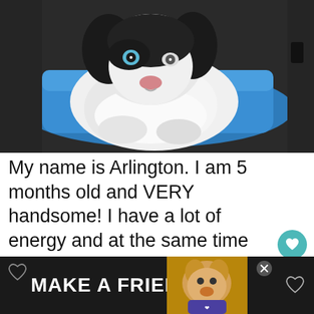[Figure (photo): A black and white fluffy Sheepadoodle puppy lying on a blue mat/cushion on a dark floor, looking at the camera with a pink nose and heterochromatic eyes.]
My name is Arlington. I am 5 months old and VERY handsome! I have a lot of energy and at the same time am the sweetest Sheepadoodle ever! I love all my toys but like to really destroy them. I try
[Figure (infographic): Advertisement banner at the bottom: dark background with white bold text 'MAKE A FRIEND' and a heart icon, with an image of a dog on the right side and an X close button.]